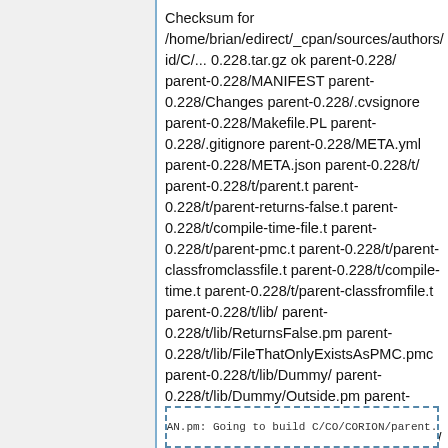Checksum for /home/brian/edirect/_cpan/sources/authors/id/C/... 0.228.tar.gz ok parent-0.228/ parent-0.228/MANIFEST parent-0.228/Changes parent-0.228/.cvsignore parent-0.228/Makefile.PL parent-0.228/.gitignore parent-0.228/META.yml parent-0.228/META.json parent-0.228/t/ parent-0.228/t/parent.t parent-0.228/t/parent-returns-false.t parent-0.228/t/compile-time-file.t parent-0.228/t/parent-pmc.t parent-0.228/t/parent-classfromclassfile.t parent-0.228/t/compile-time.t parent-0.228/t/parent-classfromfile.t parent-0.228/t/lib/ parent-0.228/t/lib/ReturnsFalse.pm parent-0.228/t/lib/FileThatOnlyExistsAsPMC.pmc parent-0.228/t/lib/Dummy/ parent-0.228/t/lib/Dummy/Outside.pm parent-0.228/t/lib/Dummy.pm parent-0.228/t/lib/Dummy2.plugin parent-0.228/lib/ parent-0.228/lib/parent.pm parent-0.228/MANIFEST.SKIP
CPAN.pm: Going to build C/CO/CORION/parent...